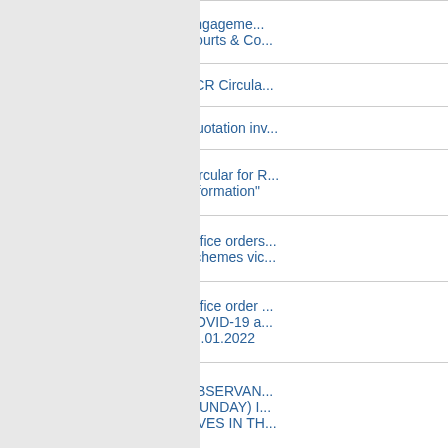| No. | Date | Title |
| --- | --- | --- |
| 23. | 04/04/2022 | Engagement... Courts & Co... |
| 24. | 29/03/2022 | ACR Circula... |
| 25. | 02/03/2022 | Quotation inv... |
| 26. | 28/02/2022 | Circular for R... Information" |
| 27. | 25/02/2022 | Office orders... Schemes vic... |
| 28. | 31/01/2022 | Office order... COVID-19 a... 31.01.2022 |
| 29. | 28/01/2022 | OBSERVAN... (SUNDAY) I... LIVES IN TH... |
| 30. | 25/01/2022 | Circular rega... No.5/R/DS d... |
| 31. | 21/01/2022 | Invitation and... Celebrations... |
| 32. | 14/01/2022 | Quotation inv... |
| 33. | 11/01/2022 | Standing Co... |
| 34. | 09/01/2022 | Office Order... the further... |